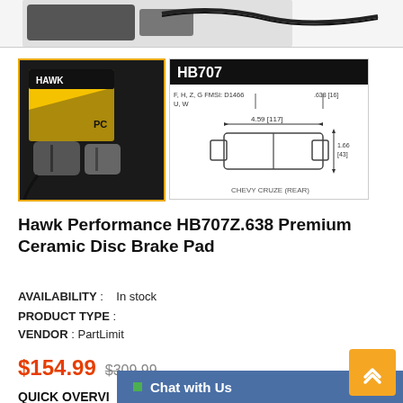[Figure (photo): Partial product image at top, showing brake pads/wires on grey background]
[Figure (photo): Hawk Performance PC brake pad product box with brake pads, yellow and black packaging]
[Figure (engineering-diagram): Technical dimension diagram for HB707 brake pad showing F, H, Z, G, U, W fitments; FMSI D1466; dimensions 4.59 [117] width, 1.66 [43] height, .638 [16]; CHEVY CRUZE (REAR)]
Hawk Performance HB707Z.638 Premium Ceramic Disc Brake Pad
AVAILABILITY : In stock
PRODUCT TYPE :
VENDOR : PartLimit
$154.99 $309.99
QUICK OVERVIEW
Chat with Us